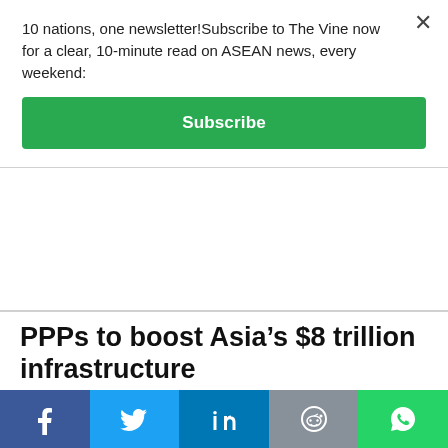10 nations, one newsletter!Subscribe to The Vine now for a clear, 10-minute read on ASEAN news, every weekend:
[Figure (other): Green Subscribe button]
×
PPPs to boost Asia's $8 trillion infrastructure
May 31, 2012
Asia and the Pacific has seen a boom in public private partnerships (PPPs) in the past decade but it needs more effective public sector...
Subscribe to The Vine!
Southeast Asian news and musings, weekly, sorta
[Figure (infographic): Social share bar with Facebook, Twitter, LinkedIn, Reddit, WhatsApp icons]